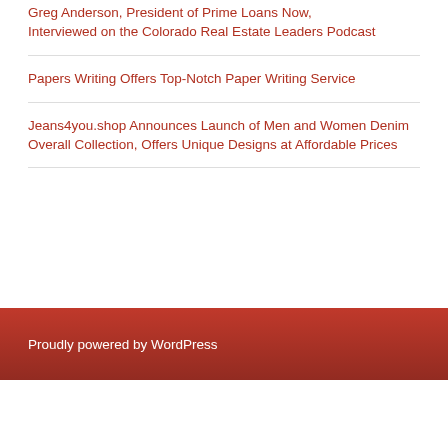Greg Anderson, President of Prime Loans Now, Interviewed on the Colorado Real Estate Leaders Podcast
Papers Writing Offers Top-Notch Paper Writing Service
Jeans4you.shop Announces Launch of Men and Women Denim Overall Collection, Offers Unique Designs at Affordable Prices
Proudly powered by WordPress